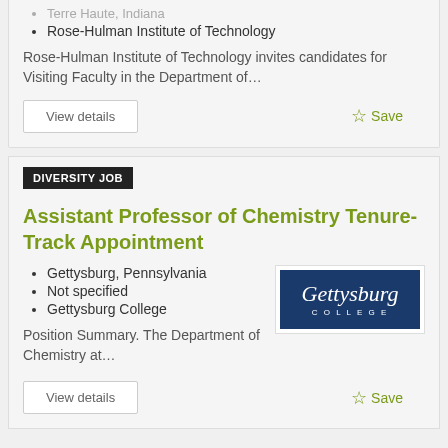Terre Haute, Indiana
Rose-Hulman Institute of Technology
Rose-Hulman Institute of Technology invites candidates for Visiting Faculty in the Department of…
View details
Save
DIVERSITY JOB
Assistant Professor of Chemistry Tenure-Track Appointment
Gettysburg, Pennsylvania
Not specified
Gettysburg College
[Figure (logo): Gettysburg College logo — dark navy blue background with 'Gettysburg' in large white italic serif font and 'COLLEGE' in small white capital letters below]
Position Summary.  The Department of Chemistry at…
View details
Save